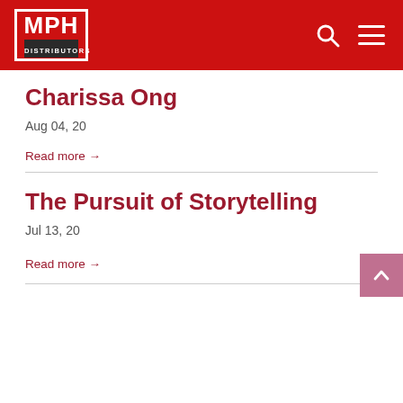MPH DISTRIBUTORS
Charissa Ong
Aug 04, 20
Read more →
The Pursuit of Storytelling
Jul 13, 20
Read more →